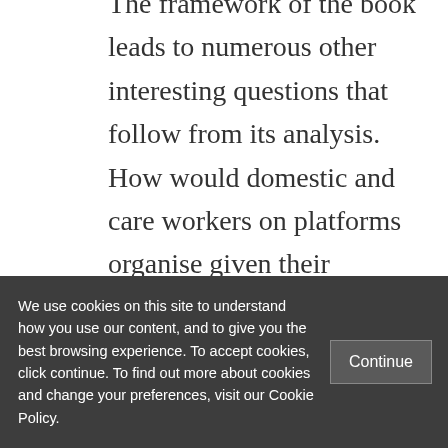The framework of the book leads to numerous other interesting questions that follow from its analysis. How would domestic and care workers on platforms organise given their personal relationships with their employers, more private workplaces and lack of natural gathering places in public areas? The book argues that recent struggles with Amazon Mechanical Turk show the potential for workers to co-ordinate through online
We use cookies on this site to understand how you use our content, and to give you the best browsing experience. To accept cookies, click continue. To find out more about cookies and change your preferences, visit our Cookie Policy.